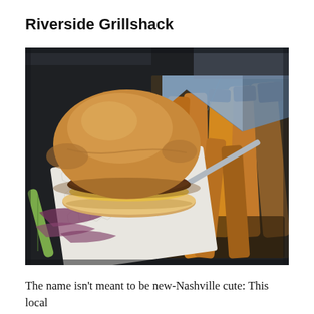Riverside Grillshack
[Figure (photo): A burger served in a black tray lined with patterned wax paper, accompanied by thick-cut french fries. The burger has a golden brioche bun, a thick beef patty with melted cheese, and is garnished with red onion and a pickle spear.]
The name isn't meant to be new-Nashville cute: This local